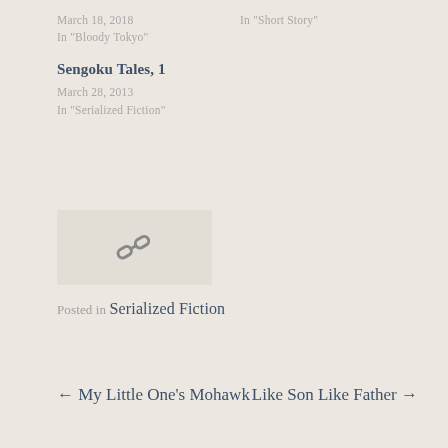March 18, 2018
In "Bloody Tokyo"
In "Short Story"
Sengoku Tales, 1
March 28, 2013
In "Serialized Fiction"
[Figure (other): Link/chain icon inside a light beige rounded rectangle]
Posted in Serialized Fiction
← My Little One's Mohawk
Like Son Like Father →